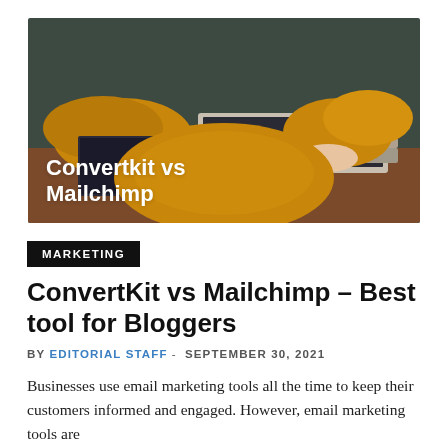[Figure (photo): Person wearing a mustard/golden yellow sweater typing on a laptop at a wooden desk. Text overlay reads 'Convertkit vs Mailchimp' in white bold font.]
MARKETING
ConvertKit vs Mailchimp – Best tool for Bloggers
BY EDITORIAL STAFF - SEPTEMBER 30, 2021
Businesses use email marketing tools all the time to keep their customers informed and engaged. However, email marketing tools are...